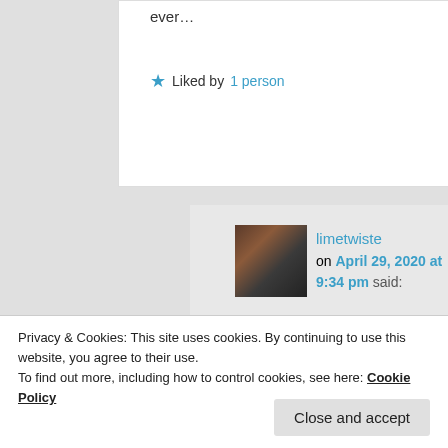ever…
★ Liked by 1 person
limetwiste on April 29, 2020 at 9:34 pm said:
I don't really want to take medicine if I can help it. Hence the weaning off of it.
Started reading today: The Mindful
Privacy & Cookies: This site uses cookies. By continuing to use this website, you agree to their use.
To find out more, including how to control cookies, see here: Cookie Policy
Close and accept
it naturally for the long term.